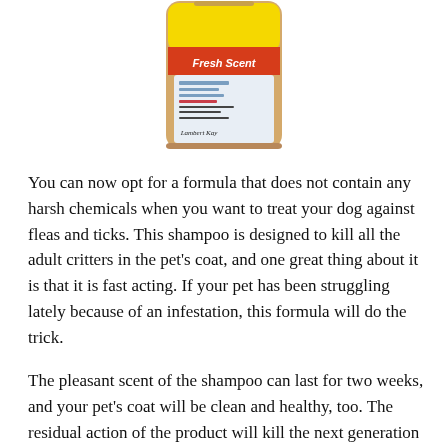[Figure (photo): A bottle of Lambert Kay Fresh Scent flea and tick shampoo with a yellow and red label, partially visible from the top portion of the bottle.]
You can now opt for a formula that does not contain any harsh chemicals when you want to treat your dog against fleas and ticks. This shampoo is designed to kill all the adult critters in the pet's coat, and one great thing about it is that it is fast acting. If your pet has been struggling lately because of an infestation, this formula will do the trick.
The pleasant scent of the shampoo can last for two weeks, and your pet's coat will be clean and healthy, too. The residual action of the product will kill the next generation of